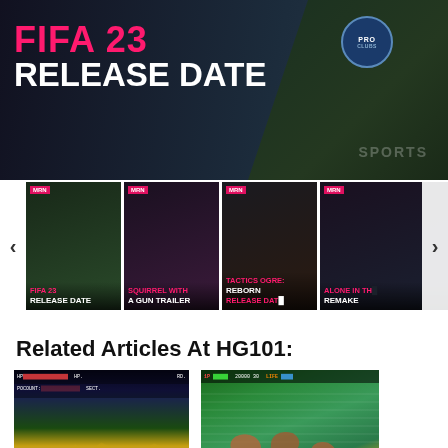[Figure (screenshot): FIFA 23 Release Date hero banner with pink/white bold text and a person in sports jersey on dark background with PRO CLUBS badge]
[Figure (screenshot): Thumbnail carousel strip with 4 video thumbnails: FIFA 23 Release Date, Squirrel with a Gun Trailer, Tactics Ogre Reborn Release Date, Alone in the Dark Remake, with left/right navigation arrows]
Related Articles At HG101:
[Figure (screenshot): Retro side-scrolling shooter game screenshot with HUD showing HP bar, score, and arcade-style graphics with yellow terrain and space background]
[Figure (screenshot): Ikari III: The Rescue game screenshot showing top-down view of characters swimming in water with green/teal water background]
k Rogers: et of Zoom
Ikari III: The Rescue